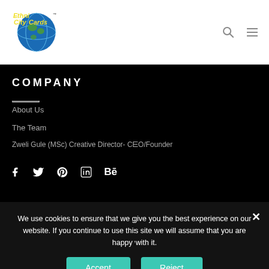[Figure (logo): EthniCityCards globe logo with yellow text on a globe graphic]
COMPANY
About Us
The Team
Zweli Gule (MSc) Creative Director- CEO/Founder
[Figure (infographic): Social media icons row: Facebook, Twitter, Pinterest, LinkedIn, Behance]
We use cookies to ensure that we give you the best experience on our website. If you continue to use this site we will assume that you are happy with it.
Accept | Reject